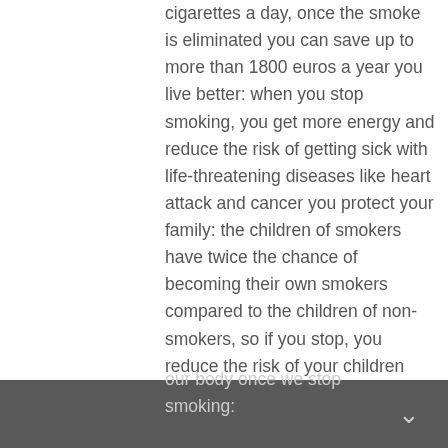cigarettes a day, once the smoke is eliminated you can save up to more than 1800 euros a year you live better: when you stop smoking, you get more energy and reduce the risk of getting sick with life-threatening diseases like heart attack and cancer you protect your family: the children of smokers have twice the chance of becoming their own smokers compared to the children of non-smokers, so if you stop, you reduce the risk of your children becoming smokers.

Now let's see what exactly happens to our body once we stop smoking: